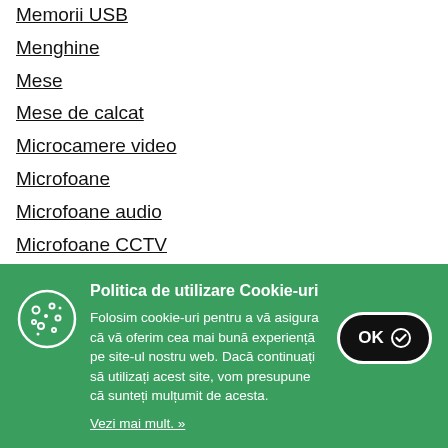Memorii USB
Menghine
Mese
Mese de calcat
Microcamere video
Microfoane
Microfoane audio
Microfoane CCTV
Politica de utilizare Cookie-uri
Folosim cookie-uri pentru a vă asigura că vă oferim cea mai bună experiență pe site-ul nostru web. Dacă continuați să utilizați acest site, vom presupune că sunteți mulțumit de acesta.
Vezi mai mult. »